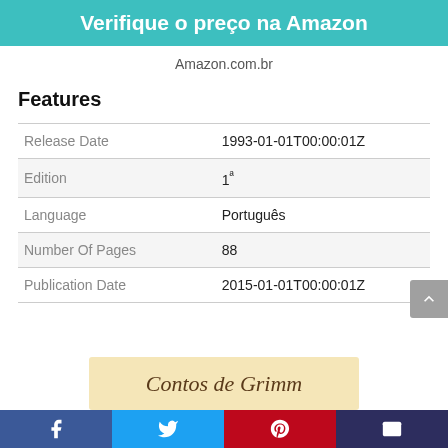Verifique o preço na Amazon
Amazon.com.br
Features
|  |  |
| --- | --- |
| Release Date | 1993-01-01T00:00:01Z |
| Edition | 1ª |
| Language | Português |
| Number Of Pages | 88 |
| Publication Date | 2015-01-01T00:00:01Z |
[Figure (illustration): Book banner showing 'Contos de Grimm' in italic script on a beige/cream background]
Facebook | Twitter | Pinterest | Email